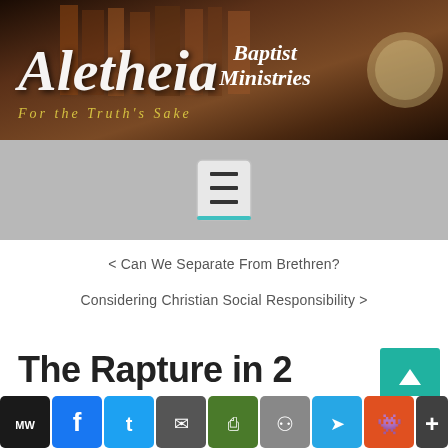[Figure (logo): Aletheia Baptist Ministries header banner with books background, script font logo text 'Aletheia Baptist Ministries' and tagline 'For the Truth's Sake']
[Figure (screenshot): Gray navigation bar with hamburger menu button (three horizontal lines) with teal underline]
< Can We Separate From Brethren?
Considering Christian Social Responsibility >
The Rapture in 2 Thessalonians 2
[Figure (screenshot): Social sharing bar with icons: MW, Facebook, Twitter, Mail, Print, Link, Telegram, Reddit, More (+)]